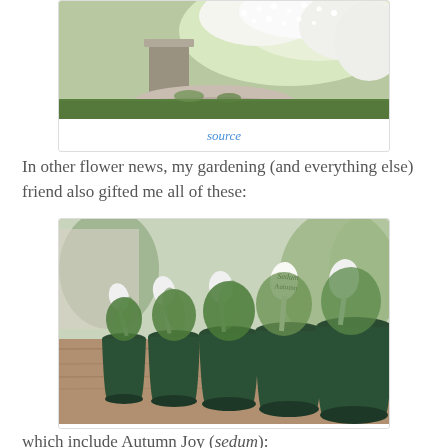[Figure (photo): Garden photo showing stone steps or well with white flowering bush/vine and green grass, partially cropped at top]
source
In other flower news, my gardening (and everything else) friend also gifted me all of these:
[Figure (photo): Row of green plastic plant pots on a wooden railing/deck, each with a white plastic plant label/spoon marker, one readable label says 'Sedum Autumn']
which include Autumn Joy (sedum):
[Figure (photo): Garden photo partially visible at bottom of page, green plants/lawn scene]